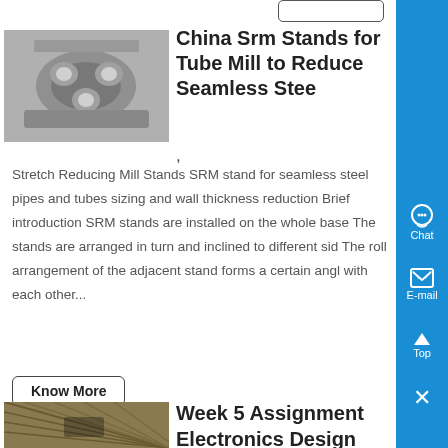China Srm Stands for Tube Mill to Reduce Seamless Stee
,
Stretch Reducing Mill Stands SRM stand for seamless steel pipes and tubes sizing and wall thickness reduction Brief introduction SRM stands are installed on the whole base The stands are arranged in turn and inclined to different sid The roll arrangement of the adjacent stand forms a certain angl with each other...
Know More
Week 5 Assignment Electronics Design